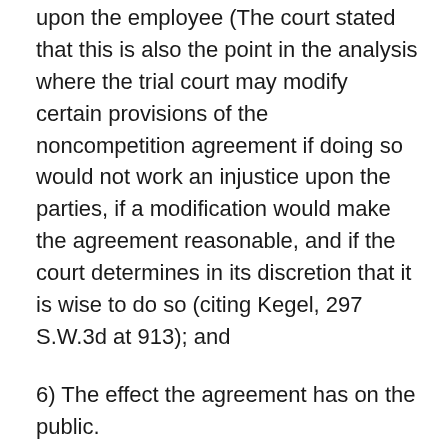upon the employee (The court stated that this is also the point in the analysis where the trial court may modify certain provisions of the noncompetition agreement if doing so would not work an injustice upon the parties, if a modification would make the agreement reasonable, and if the court determines in its discretion that it is wise to do so (citing Kegel, 297 S.W.3d at 913); and
6) The effect the agreement has on the public.
In a footnote, the court was careful to state that none of these factors are a new creation; rather, this opinion is simply “the first to express them together in this manner.” The court also stated that not all of the categories or all questions within a category which are identified in the opinion must be